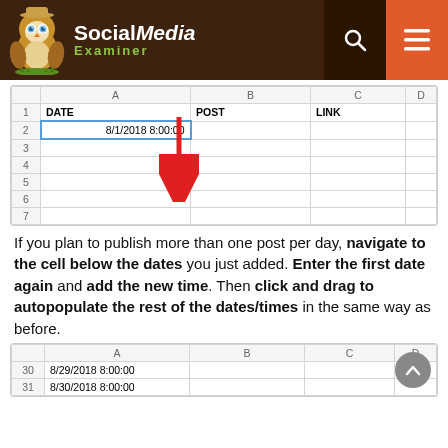[Figure (screenshot): Social Media Examiner website header with owl mascot logo, search icon, and hamburger menu icon on dark brown background]
[Figure (screenshot): Google Sheets spreadsheet showing DATE column in A1, POST in B1, LINK in C1, with cell A2 containing '8/1/2018 8:00:00' highlighted with blue border, and a red downward arrow indicating drag to autofill from rows 2-7]
If you plan to publish more than one post per day, navigate to the cell below the dates you just added. Enter the first date again and add the new time. Then click and drag to autopopulate the rest of the dates/times in the same way as before.
[Figure (screenshot): Bottom portion of Google Sheets showing rows 30 and 31 with dates 8/29/2018 8:00:00 and 8/30/2018 8:00:00 in column A, with a scroll-to-top button]